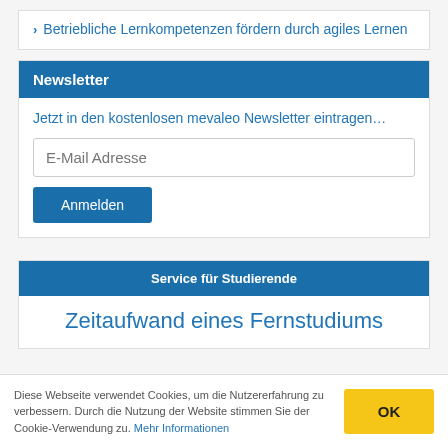Betriebliche Lernkompetenzen fördern durch agiles Lernen
Newsletter
Jetzt in den kostenlosen mevaleo Newsletter eintragen…
E-Mail Adresse
Anmelden
Service für Studierende
Zeitaufwand eines Fernstudiums
Diese Webseite verwendet Cookies, um die Nutzererfahrung zu verbessern. Durch die Nutzung der Website stimmen Sie der Cookie-Verwendung zu. Mehr Informationen